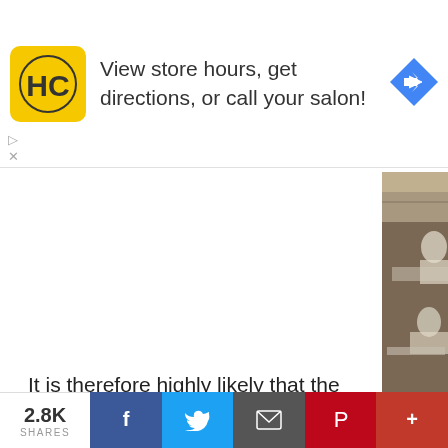[Figure (screenshot): Advertisement banner for HC (Hair Club?): yellow square logo with HC letters, text 'View store hours, get directions, or call your salon!', blue diamond navigation arrow on right. Small play and X controls below on the left.]
[Figure (photo): Black and white historical photograph of soldiers from Fort Riley, Kansas, ill with the 1918 Spanish Flu in a large ward. Medical staff attending to patients lying on cots.]
Soldiers from Fort Riley, Kansas, ill w
It is therefore highly likely that the 1918 Sp
2.8K SHARES  [Facebook] [Twitter] [Email] [Pinterest] [More]